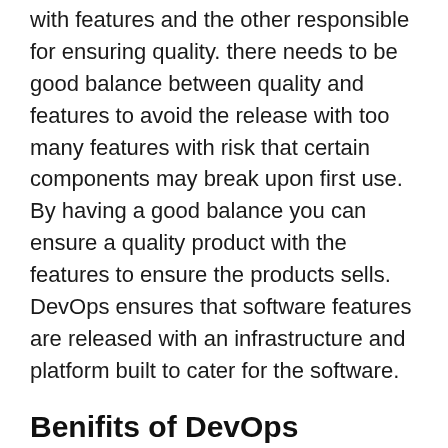with features and the other responsible for ensuring quality. there needs to be good balance between quality and features to avoid the release with too many features with risk that certain components may break upon first use. By having a good balance you can ensure a quality product with the features to ensure the products sells. DevOps ensures that software features are released with an infrastructure and platform built to cater for the software.
Benifits of DevOps
DevOps can provide several different business and technical benefits, many of which can result in happier customers. Some benefits include: